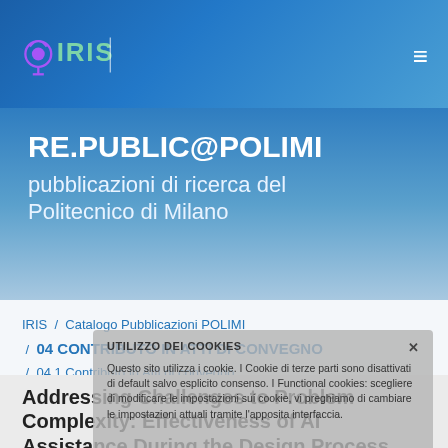IRIS | RE.PUBLIC@POLIMI
RE.PUBLIC@POLIMI
pubblicazioni di ricerca del Politecnico di Milano
IRIS / Catalogo Pubblicazioni POLIMI / 04 CONTRIBUTO IN ATTI DI CONVEGNO / 04.1 Contributo in Atti di convegno
UTILIZZO DEI COOKIES
Questo sito utilizza i cookie. I Cookie di terze parti sono disattivati di default salvo esplicito consenso. I Functional cookies: scegliere di modificare le impostazioni sui cookie, vi preghiamo di cambiare le impostazioni attuali tramite l'apposita interfaccia.
Addressing Challenges to Problem Complexity: Effectiveness of AI Assistance During the Design Process